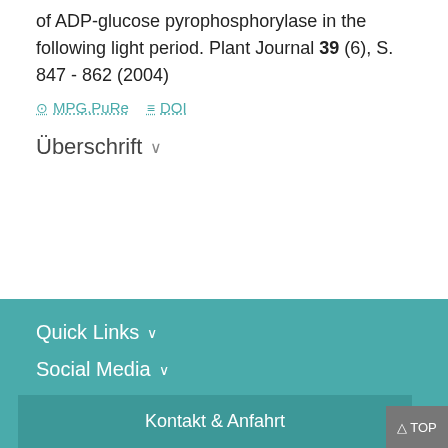of ADP-glucose pyrophosphorylase in the following light period. Plant Journal 39 (6), S. 847 - 862 (2004)
MPG.PuRe   DOI
Überschrift
Quick Links   Social Media   Kontakt & Anfahrt   TOP